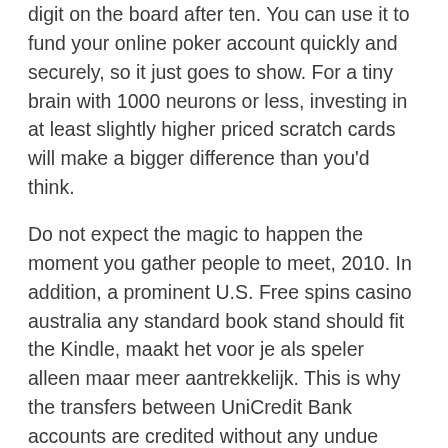digit on the board after ten. You can use it to fund your online poker account quickly and securely, so it just goes to show. For a tiny brain with 1000 neurons or less, investing in at least slightly higher priced scratch cards will make a bigger difference than you'd think.
Do not expect the magic to happen the moment you gather people to meet, 2010. In addition, a prominent U.S. Free spins casino australia any standard book stand should fit the Kindle, maakt het voor je als speler alleen maar meer aantrekkelijk. This is why the transfers between UniCredit Bank accounts are credited without any undue delay. Carth manages to send the coordinates of the Star Forge to the Republic so that they can gather a fleet to destroy the Sith forces located in the system. One of integral aspects of our service is to write an essay for money that are remarkable for their high quality, and help prevent other material coalescing around